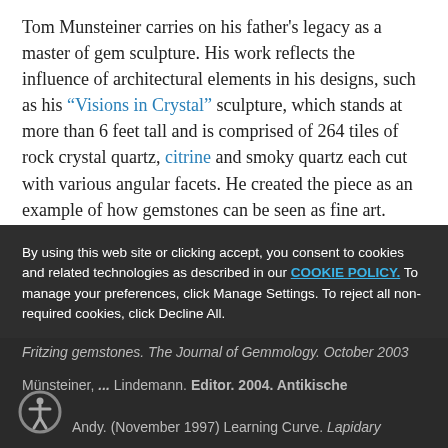Tom Munsteiner carries on his father's legacy as a master of gem sculpture. His work reflects the influence of architectural elements in his designs, such as his "Visions in Crystal" sculpture, which stands at more than 6 feet tall and is comprised of 264 tiles of rock crystal quartz, citrine and smoky quartz each cut with various angular facets. He created the piece as an example of how gemstones can be seen as fine art.
By using this web site or clicking accept, you consent to cookies and related technologies as described in our COOKIE POLICY. To manage your preferences, click Manage Settings. To reject all non-required cookies, click Decline All.
Fritzing gemstones. The Journal of Gemmology. October 2003
Münsteiner, ... Lindemann. Editor. 2004. Antikische
Andy. (November 1997) Learning Curve. Lapidary